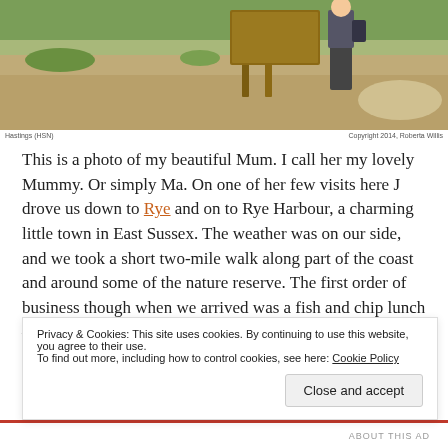[Figure (photo): Outdoor photo showing a person standing near a wooden information sign board on a gravel/shingle area with green grass and shrubs in the background.]
Hastings (HSN)     Copyright 2014, Roberta Willis
This is a photo of my beautiful Mum. I call her my lovely Mummy. Or simply Ma. On one of her few visits here J drove us down to Rye and on to Rye Harbour, a charming little town in East Sussex. The weather was on our side, and we took a short two-mile walk along part of the coast and around some of the nature reserve. The first order of business though when we arrived was a fish and chip lunch – it was just what we needed. J has a photo of it somewhere, which he promised to g... a...
Privacy & Cookies: This site uses cookies. By continuing to use this website, you agree to their use.
To find out more, including how to control cookies, see here: Cookie Policy
Close and accept